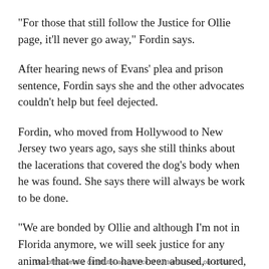"For those that still follow the Justice for Ollie page, it'll never go away," Fordin says.
After hearing news of Evans' plea and prison sentence, Fordin says she and the other advocates couldn't help but feel dejected.
Fordin, who moved from Hollywood to New Jersey two years ago, says she still thinks about the lacerations that covered the dog's body when he was found. She says there will always be work to be done.
"We are bonded by Ollie and although I'm not in Florida anymore, we will seek justice for any animal that we find to have been abused, tortured, and killed," she says.
Use of this website constitutes acceptance of our terms of use, our cookies